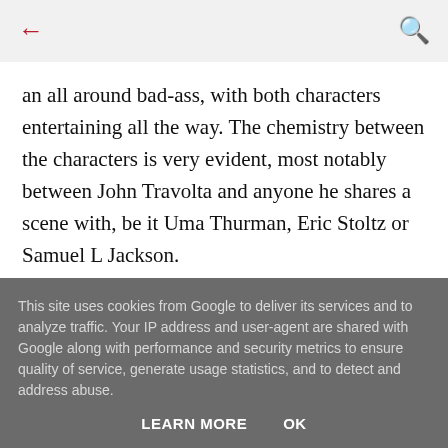← [back arrow]   [search icon]
an all around bad-ass, with both characters entertaining all the way. The chemistry between the characters is very evident, most notably between John Travolta and anyone he shares a scene with, be it Uma Thurman, Eric Stoltz or Samuel L Jackson.
This site uses cookies from Google to deliver its services and to analyze traffic. Your IP address and user-agent are shared with Google along with performance and security metrics to ensure quality of service, generate usage statistics, and to detect and address abuse.
LEARN MORE   OK